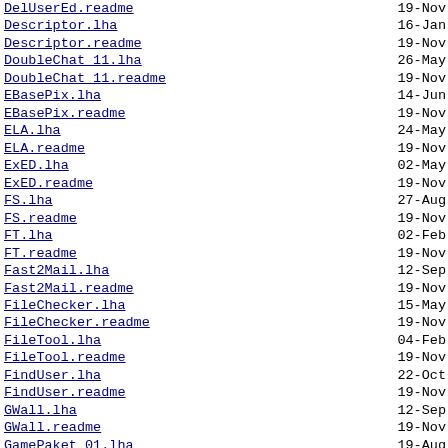DelUserEd.readme  19-Nov
Descriptor.lha  16-Jan
Descriptor.readme  19-Nov
DoubleChat 11.lha  26-May
DoubleChat 11.readme  19-Nov
EBasePix.lha  14-Jun
EBasePix.readme  19-Nov
ELA.lha  24-May
ELA.readme  19-Nov
ExED.lha  02-May
ExED.readme  19-Nov
FS.lha  27-Aug
FS.readme  19-Nov
FT.lha  02-Feb
FT.readme  19-Nov
Fast2Mail.lha  12-Sep
Fast2Mail.readme  19-Nov
FileChecker.lha  15-May
FileChecker.readme  19-Nov
FileTool.lha  04-Feb
FileTool.readme  19-Nov
FindUser.lha  22-Oct
FindUser.readme  19-Nov
GWall.lha  12-Sep
GWall.readme  19-Nov
GamePaket 01.lha  19-Aug
GamePaket 01.readme  19-Nov
Hangman.lha  22-Oct
Hangman.readme  19-Nov
Hasso.lha  14-Aug